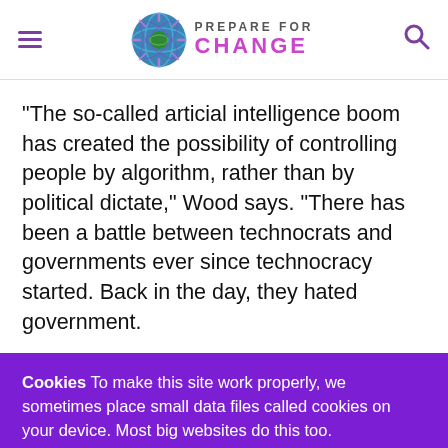PREPARE FOR CHANGE
“The so-called articial intelligence boom has created the possibility of controlling people by algorithm, rather than by political dictate,” Wood says. “There has been a battle between technocrats and governments ever since technocracy started. Back in the day, they hated government.
Cookies To make this site work properly, we sometimes place small data files called cookies on your device. Most big websites do this too.
✔ Accept
Change Settings ⚙